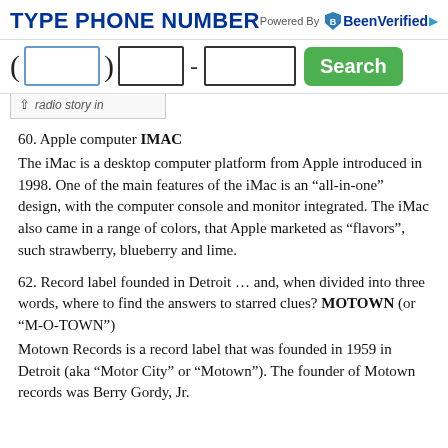TYPE PHONE NUMBER — Powered By BeenVerified
[Figure (screenshot): Phone number search input fields with area code, exchange, and number fields, plus a green Search button]
radio story in
60. Apple computer IMAC
The iMac is a desktop computer platform from Apple introduced in 1998. One of the main features of the iMac is an “all-in-one” design, with the computer console and monitor integrated. The iMac also came in a range of colors, that Apple marketed as “flavors”, such strawberry, blueberry and lime.
62. Record label founded in Detroit … and, when divided into three words, where to find the answers to starred clues? MOTOWN (or “M-O-TOWN”)
Motown Records is a record label that was founded in 1959 in Detroit (aka “Motor City” or “Motown”). The founder of Motown records was Berry Gordy, Jr.